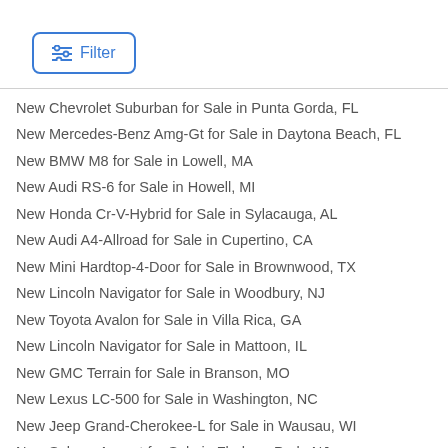[Figure (other): Filter button with sliders icon]
New Chevrolet Suburban for Sale in Punta Gorda, FL
New Mercedes-Benz Amg-Gt for Sale in Daytona Beach, FL
New BMW M8 for Sale in Lowell, MA
New Audi RS-6 for Sale in Howell, MI
New Honda Cr-V-Hybrid for Sale in Sylacauga, AL
New Audi A4-Allroad for Sale in Cupertino, CA
New Mini Hardtop-4-Door for Sale in Brownwood, TX
New Lincoln Navigator for Sale in Woodbury, NJ
New Toyota Avalon for Sale in Villa Rica, GA
New Lincoln Navigator for Sale in Mattoon, IL
New GMC Terrain for Sale in Branson, MO
New Lexus LC-500 for Sale in Washington, NC
New Jeep Grand-Cherokee-L for Sale in Wausau, WI
New Subaru Ascent for Sale in Florham Park, NJ
New Mercedes-Benz A-Class for Sale in Hammonton, NJ